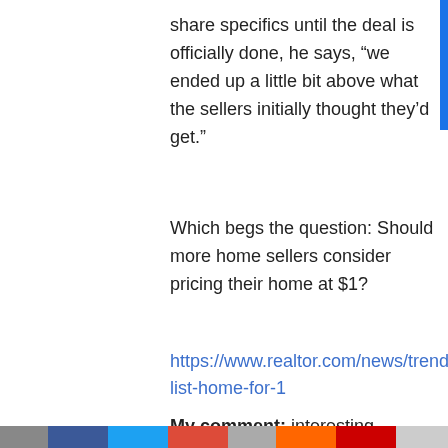share specifics until the deal is officially done, he says, “we ended up a little bit above what the sellers initially thought they’d get.”
Which begs the question: Should more home sellers consider pricing their home at $1?
https://www.realtor.com/news/trends/couple-list-home-for-1
My comment: interesting discussion of the pros and cons.